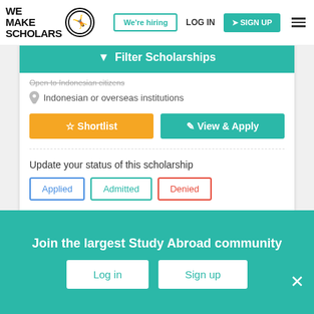[Figure (logo): We Make Scholars logo with silhouette figure in a circle]
We're hiring
LOG IN
SIGN UP
Filter Scholarships
Open to Indonesian citizens
Indonesian or overseas institutions
Shortlist
View & Apply
Update your status of this scholarship
Applied
Admitted
Denied
Join the largest Study Abroad community
Log in
Sign up